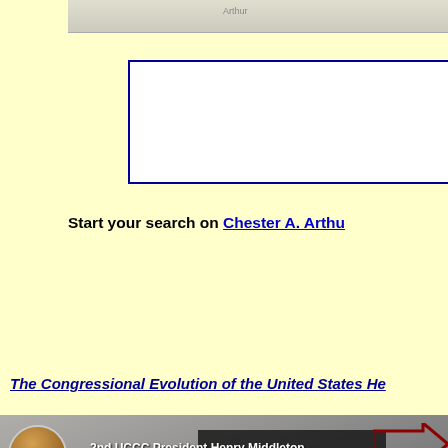[Figure (screenshot): Top cropped website screenshot showing a light beige/grey image bar at the very top]
[Figure (screenshot): Search box with blue border, white background, partially cropped on right]
Start your search on Chester A. Arth…
The Congressional Evolution of the United States He…
[Figure (screenshot): YouTube video thumbnail showing '2nd UCCC President Henry Middleton' with date 'March 22, 1765', arrows pointing to a historical portrait with a YouTube play button overlay]